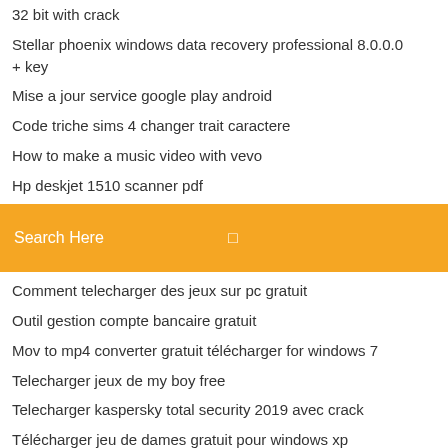32 bit with crack
Stellar phoenix windows data recovery professional 8.0.0.0 + key
Mise a jour service google play android
Code triche sims 4 changer trait caractere
How to make a music video with vevo
Hp deskjet 1510 scanner pdf
Search Here
Comment telecharger des jeux sur pc gratuit
Outil gestion compte bancaire gratuit
Mov to mp4 converter gratuit télécharger for windows 7
Telecharger jeux de my boy free
Telecharger kaspersky total security 2019 avec crack
Télécharger jeu de dames gratuit pour windows xp
Logiciel de retouche son gratuit
Site pour vendre des objets anciens
Warhammer 40k dawn of war 2 review
Comment casser mot de passe pdf